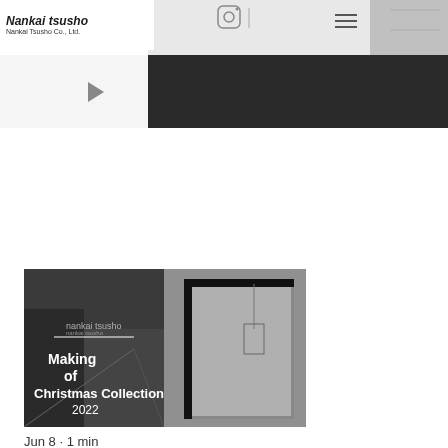[Figure (screenshot): Instagram profile page screenshot showing Nankai Tsusho brand header with logo, brand name in bold italic 'Nankai tsusho', subtitle 'Nankai Tsusho Co., Ltd.', hamburger menu icon, and a grey/dark banner area below showing an interior space]
[Figure (photo): Black and white video thumbnail showing a street scene with text overlay reading 'Making of Christmas Collection 2022']
Jun 8 · 1 min